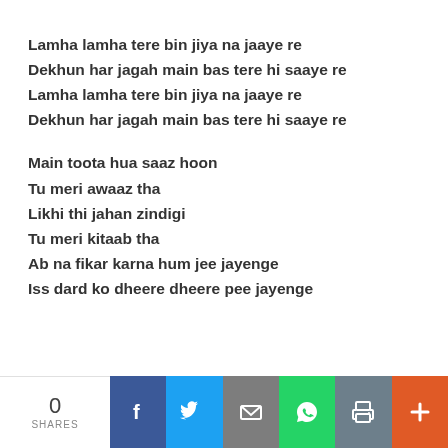Lamha lamha tere bin jiya na jaaye re
Dekhun har jagah main bas tere hi saaye re
Lamha lamha tere bin jiya na jaaye re
Dekhun har jagah main bas tere hi saaye re
Main toota hua saaz hoon
Tu meri awaaz tha
Likhi thi jahan zindigi
Tu meri kitaab tha
Ab na fikar karna hum jee jayenge
Iss dard ko dheere dheere pee jayenge
0 SHARES | Facebook | Twitter | Email | WhatsApp | Print | Plus